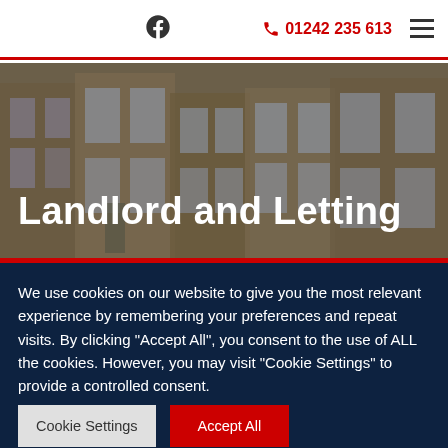Facebook icon | 01242 235 613 | hamburger menu
Landlord and Letting
[Figure (illustration): Background photo of brick terraced houses with bay windows]
[Figure (illustration): Red circle with person/house icon representing Private Landlord Help section]
Private Landlord Help →
We use cookies on our website to give you the most relevant experience by remembering your preferences and repeat visits. By clicking "Accept All", you consent to the use of ALL the cookies. However, you may visit "Cookie Settings" to provide a controlled consent.
Cookie Settings | Accept All